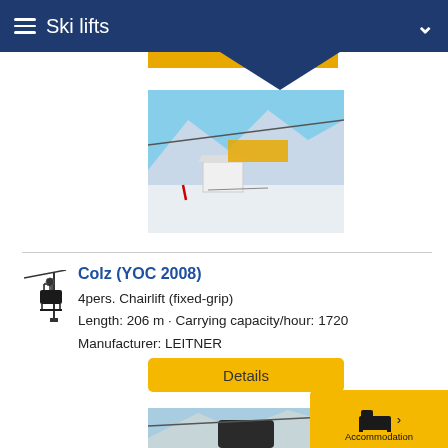Ski lifts
[Figure (photo): Ski lift chairlift station with snow-covered mountains in the background, blue sky]
Colz (YOC 2008)
4pers. Chairlift (fixed-grip)
Length: 206 m · Carrying capacity/hour: 1720
Manufacturer: LEITNER
[Figure (photo): Another ski lift structure with mountains and blue sky in background]